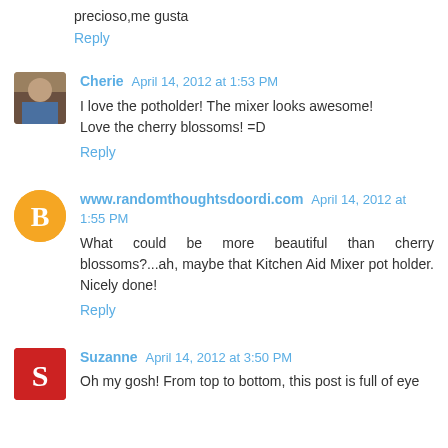precioso,me gusta
Reply
Cherie  April 14, 2012 at 1:53 PM
I love the potholder! The mixer looks awesome!
Love the cherry blossoms! =D
Reply
www.randomthoughtsdoordi.com  April 14, 2012 at 1:55 PM
What could be more beautiful than cherry blossoms?...ah, maybe that Kitchen Aid Mixer pot holder. Nicely done!
Reply
Suzanne  April 14, 2012 at 3:50 PM
Oh my gosh! From top to bottom, this post is full of eye